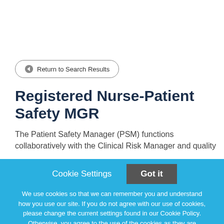Return to Search Results
Registered Nurse-Patient Safety MGR
The Patient Safety Manager (PSM) functions collaboratively with the Clinical Risk Manager and quality
Cookie Settings
Got it
We use cookies so that we can remember you and understand how you use our site. If you do not agree with our use of cookies, please change the current settings found in our Cookie Policy. Otherwise, you agree to the use of the cookies as they are currently set.